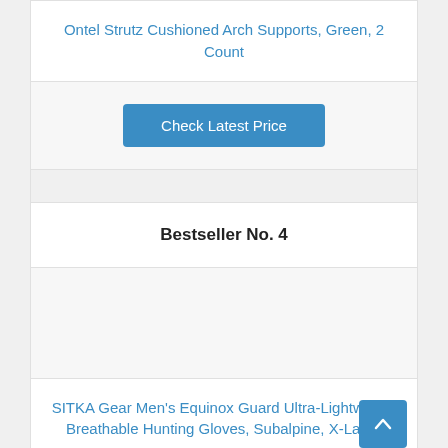Ontel Strutz Cushioned Arch Supports, Green, 2 Count
Check Latest Price
Bestseller No. 4
[Figure (other): Product image placeholder (empty/white area)]
SITKA Gear Men's Equinox Guard Ultra-Lightweight Breathable Hunting Gloves, Subalpine, X-Large